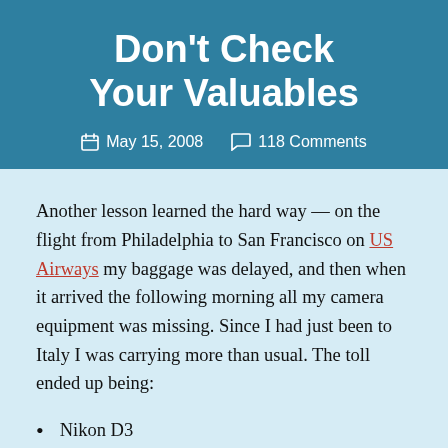Don't Check Your Valuables
May 15, 2008   118 Comments
Another lesson learned the hard way — on the flight from Philadelphia to San Francisco on US Airways my baggage was delayed, and then when it arrived the following morning all my camera equipment was missing. Since I had just been to Italy I was carrying more than usual. The toll ended up being:
Nikon D3
Nikkor 85mm f/1.4D IF